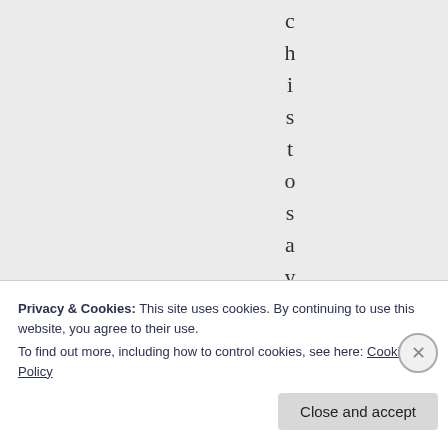c h i s t o s a y , y
Privacy & Cookies: This site uses cookies. By continuing to use this website, you agree to their use.
To find out more, including how to control cookies, see here: Cookie Policy
Close and accept